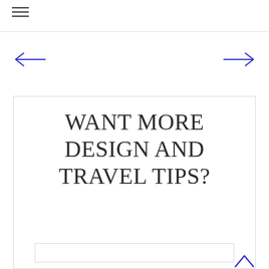[Figure (other): Left navigation arrow (blue)]
[Figure (other): Right navigation arrow (blue)]
WANT MORE DESIGN AND TRAVEL TIPS?
Subscribe to receive my newsletter
[Figure (other): Scroll to top arrow (blue)]